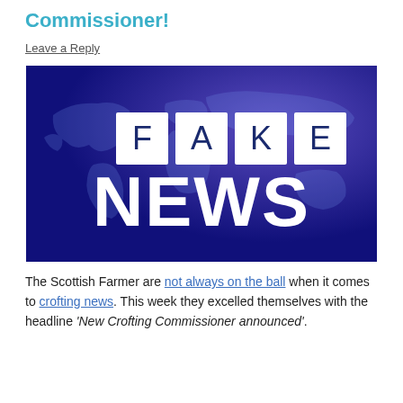Commissioner!
Leave a Reply
[Figure (illustration): Dark blue/purple graphic with a world map silhouette in the background. In the center, four white square tiles spell out 'FAKE' in large dark blue letters. Below, large bold white text reads 'NEWS'.]
The Scottish Farmer are not always on the ball when it comes to crofting news. This week they excelled themselves with the headline 'New Crofting Commissioner announced'.